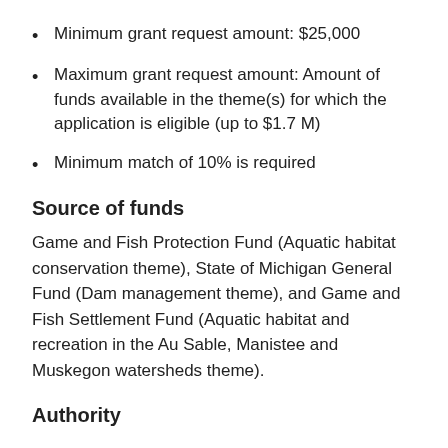Minimum grant request amount: $25,000
Maximum grant request amount: Amount of funds available in the theme(s) for which the application is eligible (up to $1.7 M)
Minimum match of 10% is required
Source of funds
Game and Fish Protection Fund (Aquatic habitat conservation theme), State of Michigan General Fund (Dam management theme), and Game and Fish Settlement Fund (Aquatic habitat and recreation in the Au Sable, Manistee and Muskegon watersheds theme).
Authority